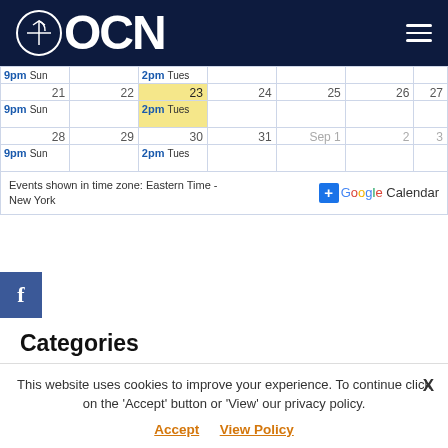OCN
|  |  |  |  |  |  |  |
| 21 | 22 | 23 | 24 | 25 | 26 | 27 |
| 9pm Sun |  | 2pm Tues |  |  |  |  |
| 28 | 29 | 30 | 31 | Sep 1 | 2 | 3 |
| 9pm Sun |  | 2pm Tues |  |  |  |  |
Events shown in time zone: Eastern Time - New York
Categories
Select Category
This website uses cookies to improve your experience. To continue click on the 'Accept' button or 'View' our privacy policy. Accept View Policy